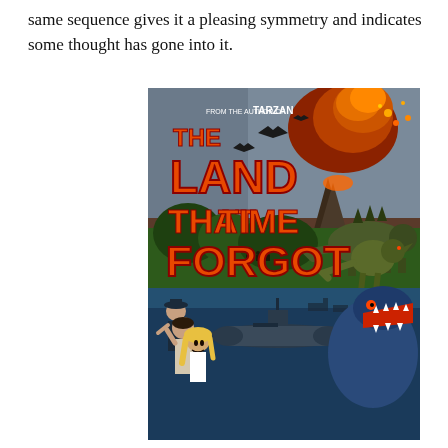same sequence gives it a pleasing symmetry and indicates some thought has gone into it.
[Figure (illustration): Movie poster for 'The Land That Time Forgot', based on Tarzan author's work. Top half shows dinosaurs including a stegosaurus and T-rex amid a volcanic explosion with pterodactyls flying. Large orange block letters read 'THE LAND THAT TIME FORGOT' with subtitle 'FROM THE AUTHOR OF TARZAN'. Bottom half shows frightened human characters (two men and a blonde woman) alongside a submarine and a large blue dinosaur/sea creature.]